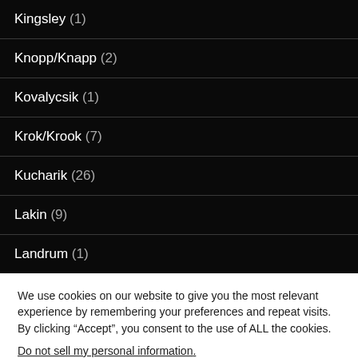Kingsley (1)
Knopp/Knapp (2)
Kovalycsik (1)
Krok/Krook (7)
Kucharik (26)
Lakin (9)
Landrum (1)
We use cookies on our website to give you the most relevant experience by remembering your preferences and repeat visits. By clicking “Accept”, you consent to the use of ALL the cookies.
Do not sell my personal information.
Cookie settings  ACCEPT